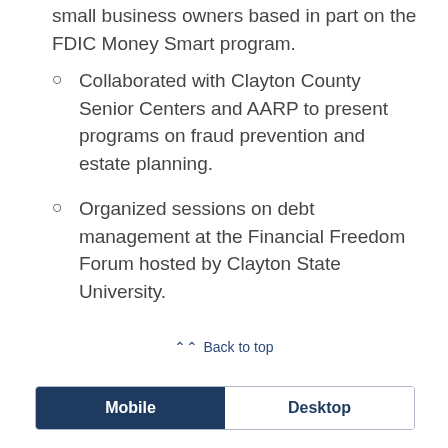small business owners based in part on the FDIC Money Smart program.
Collaborated with Clayton County Senior Centers and AARP to present programs on fraud prevention and estate planning.
Organized sessions on debt management at the Financial Freedom Forum hosted by Clayton State University.
Back to top
Mobile  Desktop